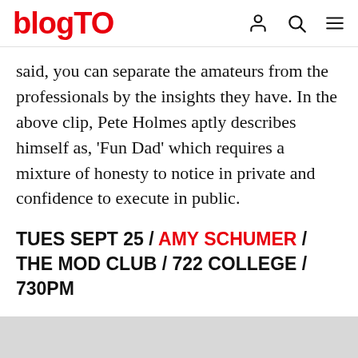blogTO
said, you can separate the amateurs from the professionals by the insights they have. In the above clip, Pete Holmes aptly describes himself as, 'Fun Dad' which requires a mixture of honesty to notice in private and confidence to execute in public.
TUES SEPT 25 / AMY SCHUMER / THE MOD CLUB / 722 COLLEGE / 730PM